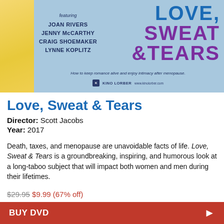[Figure (photo): Movie cover art for Love, Sweat & Tears featuring blue background with title text in blue and purple, cast names including Joan Rivers, Jenny McCarthy, Craig Shoemaker, Lynne Koplitz, tagline about keeping romance alive after menopause, and Kino Lorber logo]
Love, Sweat & Tears
Director: Scott Jacobs
Year: 2017
Death, taxes, and menopause are unavoidable facts of life. Love, Sweat & Tears is a groundbreaking, inspiring, and humorous look at a long-taboo subject that will impact both women and men during their lifetimes.
$29.95 $9.99 (67% off)
BUY DVD